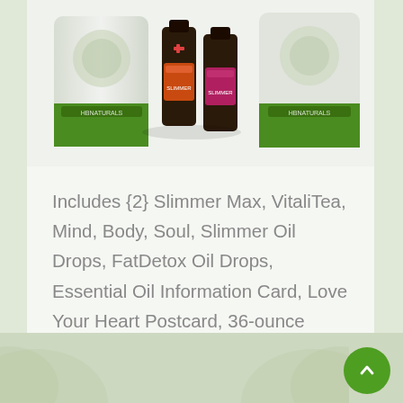[Figure (photo): Product photo showing HBNaturals supplement packages and essential oil bottles — two green branded pouches, multiple small dark glass dropper bottles with colorful labels including orange and red labels.]
Includes {2} Slimmer Max, VitaliTea, Mind, Body, Soul, Slimmer Oil Drops, FatDetox Oil Drops, Essential Oil Information Card, Love Your Heart Postcard, 36-ounce HBNaturals Water Bottle, and {12} $25 Gift Codes.
[Figure (other): Green rounded rectangle button labeled 'Learn More' with a right-pointing chevron/arrow icon.]